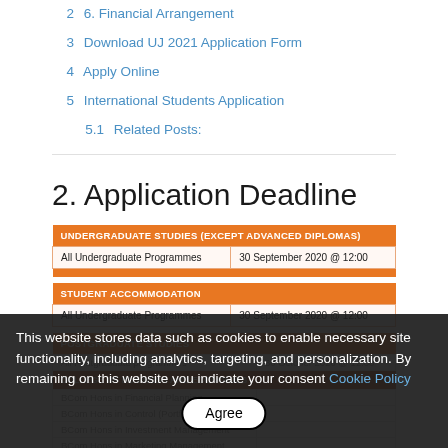2  6. Financial Arrangement
3  Download UJ 2021 Application Form
4  Apply Online
5  International Students Application
5.1  Related Posts:
2. Application Deadline
| UNDERGRADUATE STUDIES (EXCEPT ADVANCED DIPLOMAS) |  |
| --- | --- |
| All Undergraduate Programmes | 30 September 2020 @ 12:00 |
| STUDENT ACCOMMODATION |  |
| --- | --- |
| All Undergraduate Programmes | 30 September 2020 @ 12:00 |
| POSTGRADUATE STUDIES |  |
| --- | --- |
| All Postgraduate Programmes | 30 October 2020 @ 12:00 |
| COLLEGE OF BUSINESS AND ECONOMICS | 30 September 2020 @ 12:00 |
| BCom Hons in Financial Planning |  |
| BCom Hons in Control (Portfolio) |  |
| BCom Hons in Investment Management |  |
| BCom Hons in Marketing Management |  |
| BCom Hons (Strategic Management) |  |
This website stores data such as cookies to enable necessary site functionality, including analytics, targeting, and personalization. By remaining on this website you indicate your consent Cookie Policy